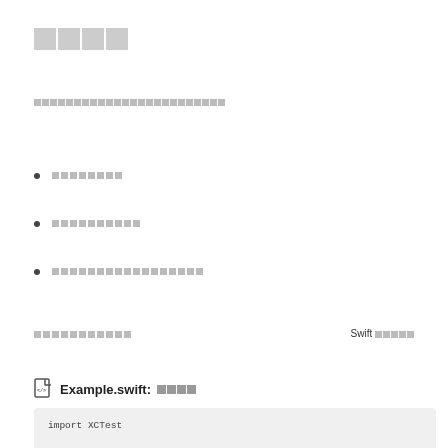□□□□
□□□□□□□□□□□□□□□□□□□□□□□□
□□□□□□□□
□□□□□□□□□□
□□□□□□□□□□□□□□□□□
□□□□□□□□□□□    Swift □□□□□
Example.swift: □□□□
import XCTest

/// The Creator protocol declares the factory method